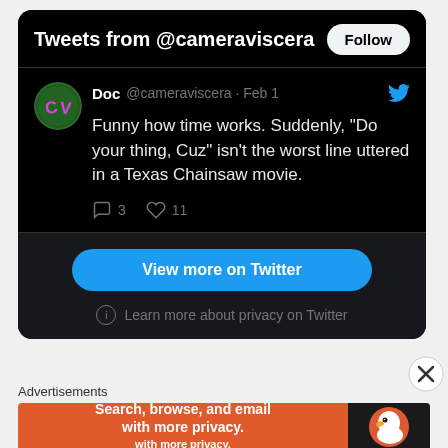Tweets from @cameraviscera
Doc @cameraviscera · Feb 1
Funny how time works. Suddenly, “Do your thing, Cuz” isn't the worst line uttered in a Texas Chainsaw movie.
View more on Twitter
Learn more about privacy on Twitter
Advertisements
[Figure (screenshot): DuckDuckGo advertisement banner: Search, browse, and email with more privacy. All in One Free App. DuckDuckGo logo on right.]